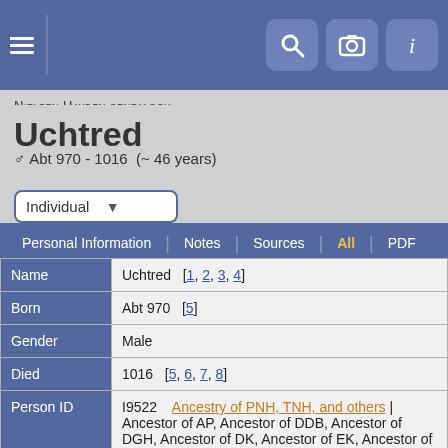Nielsen Hayden genealogy
Uchtred
♂ Abt 970 - 1016 (~ 46 years)
| Field | Value |
| --- | --- |
| Name | Uchtred  [ 1, 2, 3, 4 ] |
| Born | Abt 970  [ 5 ] |
| Gender | Male |
| Died | 1016  [ 5, 6, 7, 8 ] |
| Person ID | I9522 | Ancestry of PNH, TNH, and others | Ancestor of AP, Ancestor of DDB, Ancestor of DGH, Ancestor of DK, Ancestor of EK, Ancestor of FW, Ancestor of GFS, Ancestor of JMF, Ancestor of JTS, Ancestor of LDN, Ancestor |